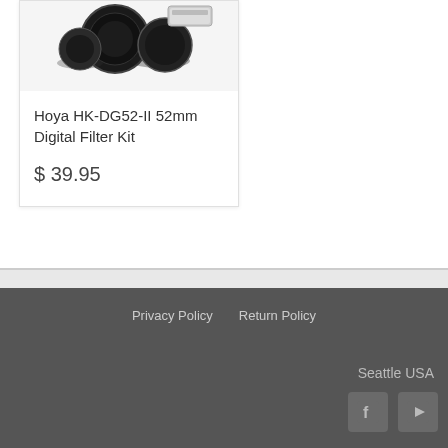[Figure (photo): Photo of Hoya HK-DG52-II 52mm Digital Filter Kit showing multiple camera lens filters]
Hoya HK-DG52-II 52mm Digital Filter Kit
$ 39.95
Privacy Policy   Return Policy   Seattle USA